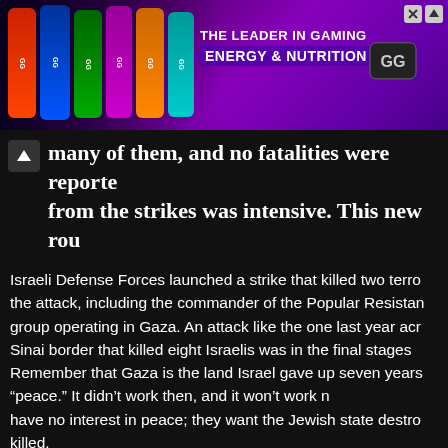[Figure (other): Advertisement banner for GG Energy & Nutrition gaming energy drinks. Purple/violet gradient background with colorful energy drink cans on left side. Text reads 'THE LEADER IN GAMING ENERGY & NUTRITION' with an ESports logo on the right. Close/arrow button in top right corner.]
many of them, and no fatalities were reported. from the strikes was intensive. This new rou followed Israel's success last week in stopp attack plot.
Israeli Defense Forces launched a strike that killed two terro the attack, including the commander of the Popular Resista group operating in Gaza. An attack like the one last year acr Sinai border that killed eight Israelis was in the final stages Remember that Gaza is the land Israel gave up seven years “peace.” It didn’t work then, and it won’t work n have no interest in peace; they want the Jewish state destro killed.